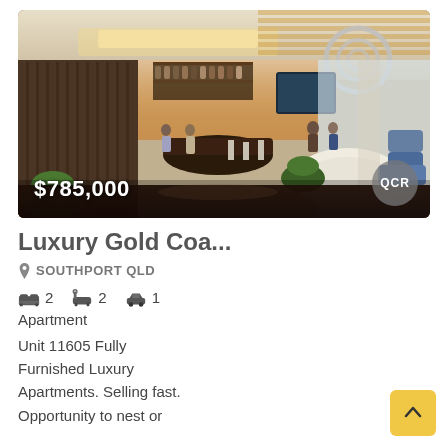[Figure (photo): Interior render of a luxury hotel/apartment lobby with warm lighting, curved reception desk, hanging ring chandelier, timber ceiling accents, and seating areas. Price overlay $785,000 with OCR badge.]
Luxury Gold Coa...
SOUTHPORT QLD
2 bedrooms, 2 bathrooms, 1 car space
Apartment
Unit 11605 Fully Furnished Luxury Apartments. Selling fast. Opportunity to nest or